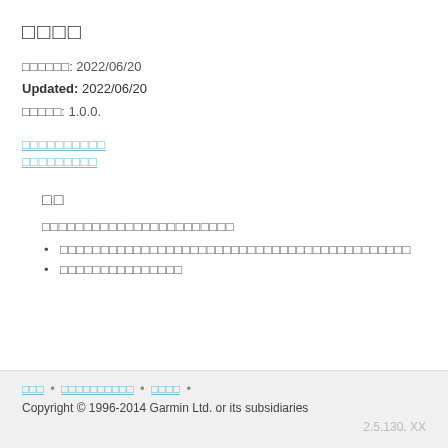□□□□
□□□□□□: 2022/06/20
Updated: 2022/06/20
□□□□□: 1.0.0.
□□□□□□□□□□ (link)
□□□□□□□□□ (link)
□□
□□□□□□□□□□□□□□□□□□□□□□□
□□□□□□□□□□□□□□□□□□□□□□□□□□□□□□□□□□□□□□□□□□□
□□□□□□□□□□□□□□□
□□□ • □□□□□□□□□□ • □□□□ • | Copyright © 1996-2014 Garmin Ltd. or its subsidiaries | 2.5.130. XX